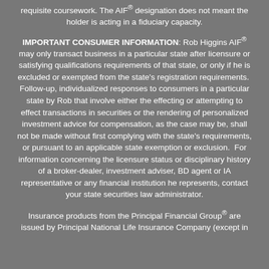requisite coursework. The AIF® designation does not meant the holder is acting in a fiduciary capacity.
IMPORTANT CONSUMER INFORMATION: Rob Higgins AIF® may only transact business in a particular state after licensure or satisfying qualifications requirements of that state, or only if he is excluded or exempted from the state's registration requirements.  Follow-up, individualized responses to consumers in a particular state by Rob that involve either the effecting or attempting to effect transactions in securities or the rendering of personalized investment advice for compensation, as the case may be, shall not be made without first complying with the state's requirements, or pursuant to an applicable state exemption or exclusion.  For information concerning the licensure status or disciplinary history of a broker-dealer, investment adviser, BD agent or IA representative or any financial institution he represents, contact your state securities law administrator.
Insurance products from the Principal Financial Group® are issued by Principal National Life Insurance Company (except in